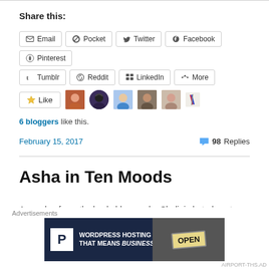Share this:
Email | Pocket | Twitter | Facebook | Pinterest | Tumblr | Reddit | LinkedIn | More
[Figure (other): Like button with 5 blogger avatar thumbnails]
6 bloggers like this.
February 15, 2017    98 Replies
Asha in Ten Moods
A couple of months back, blog reader Shalini alerted me t…
[Figure (screenshot): WordPress Hosting advertisement banner: WORDPRESS HOSTING THAT MEANS BUSINESS. with P logo and OPEN sign image]